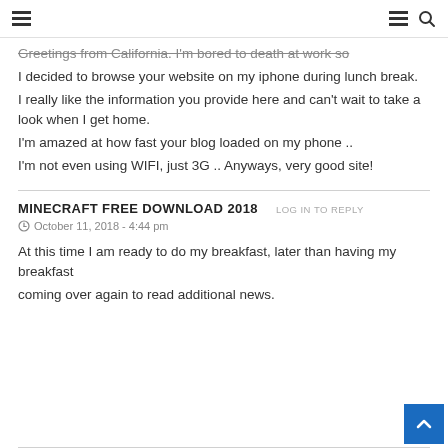Navigation header with hamburger menus and search icon
Greetings from California. I'm bored to death at work so I decided to browse your website on my iphone during lunch break.
I really like the information you provide here and can't wait to take a look when I get home.
I'm amazed at how fast your blog loaded on my phone ..
I'm not even using WIFI, just 3G .. Anyways, very good site!
MINECRAFT FREE DOWNLOAD 2018
October 11, 2018 - 4:44 pm
At this time I am ready to do my breakfast, later than having my breakfast
coming over again to read additional news.